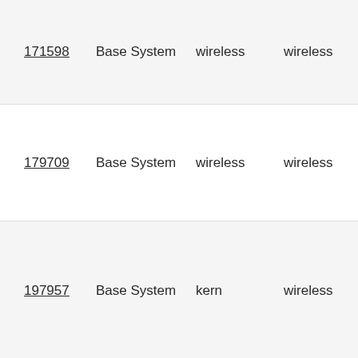| ID | Product | Component | Tag | Status | Extra |
| --- | --- | --- | --- | --- | --- |
| 171598 | Base System | wireless | wireless | Open | --- |
| 179709 | Base System | wireless | wireless | Open | --- |
| 197957 | Base System | kern | wireless | New | --- |